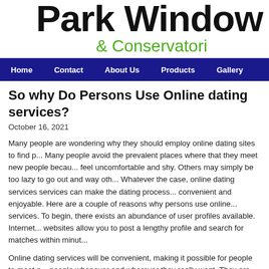[Figure (logo): Park Windows & Conservatories logo with large black bold text 'Park Window' and green text '& Conservatori']
Home  Contact  About Us  Products  Gallery
So why Do Persons Use Online dating services?
October 16, 2021
Many people are wondering why they should employ online dating sites to find p... Many people avoid the prevalent places where that they meet new people becau... feel uncomfortable and shy. Others may simply be too lazy to go out and way oth... Whatever the case, online dating services services can make the dating process... convenient and enjoyable. Here are a couple of reasons why persons use online... services. To begin, there exists an abundance of user profiles available. Internet... websites allow you to post a lengthy profile and search for matches within minut...
Online dating services will be convenient, making it possible for people to meet n... people whenever and wherever they really want. They are available over a varie... gadgets and can be contacted 24 hours a day. Many people use online dating to...